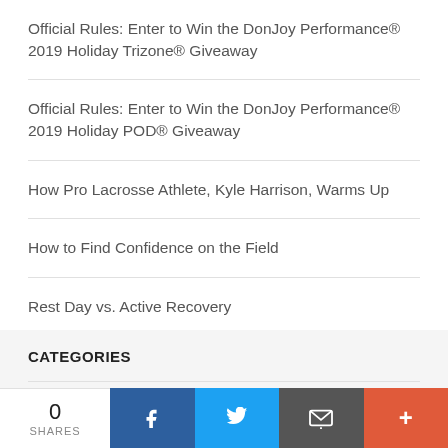Official Rules: Enter to Win the DonJoy Performance® 2019 Holiday Trizone® Giveaway
Official Rules: Enter to Win the DonJoy Performance® 2019 Holiday POD® Giveaway
How Pro Lacrosse Athlete, Kyle Harrison, Warms Up
How to Find Confidence on the Field
Rest Day vs. Active Recovery
CATEGORIES
News
0 SHARES | Facebook | Twitter | Email | More